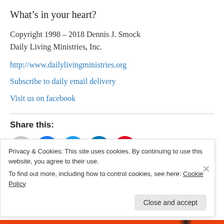What’s in your heart?
Copyright 1998 – 2018 Dennis J. Smock
Daily Living Ministries, Inc.
http://www.dailylivingministries.org
Subscribe to daily email delivery
Visit us on facebook
Share this:
[Figure (other): Social media sharing icons: email (gray), Facebook (blue), Twitter (light blue), LinkedIn (dark blue), Pinterest (red)]
Privacy & Cookies: This site uses cookies. By continuing to use this website, you agree to their use.
To find out more, including how to control cookies, see here: Cookie Policy